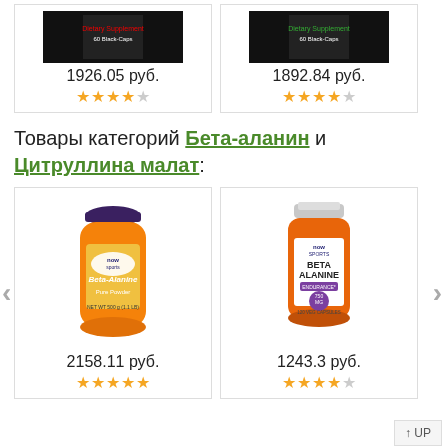[Figure (photo): Two supplement product cards at top: left shows dark supplement bottle at 1926.05 руб. with 4-star rating, right shows dark supplement bottle at 1892.84 руб. with 4-star rating]
Товары категорий Бета-аланин и Цитруллина малат:
[Figure (photo): Now Sports Beta-Alanine Pure Powder orange bottle]
2158.11 руб.
[Figure (photo): Now Sports Beta Alanine 750mg 120 Veg Capsules orange bottle]
1243.3 руб.